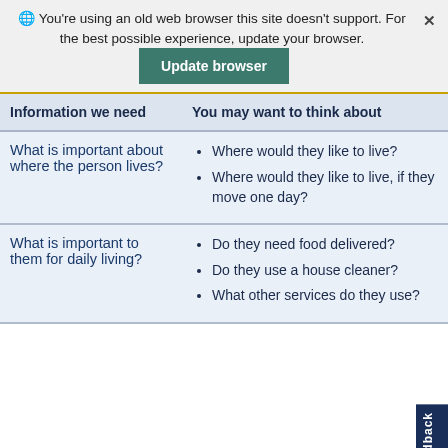You're using an old web browser this site doesn't support. For the best possible experience, update your browser. [Update browser]
| Information we need | You may want to think about |
| --- | --- |
| What is important about where the person lives? | • Where would they like to live?
• Where would they like to live, if they move one day? |
| What is important to them for daily living? | • Do they need food delivered?
• Do they use a house cleaner?
• What other services do they use? |